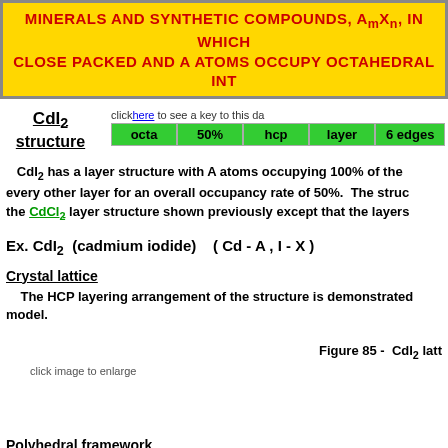MINERALS AND SYNTHETIC COMPOUNDS, AmXn, IN WHICH X ATOMS ARE CLOSE PACKED AND A ATOMS OCCUPY OCTAHEDRAL INTERSTICES
CdI2 structure
| octa | 50% | hcp | layer | 6 edges |
| --- | --- | --- | --- | --- |
CdI2 has a layer structure with A atoms occupying 100% of the octahedral holes in every other layer for an overall occupancy rate of 50%. The structure is the same as the CdCl2 layer structure shown previously except that the layers are positioned in the hcp arrangement.
Ex. CdI2 (cadmium iodide)    ( Cd - A , I - X )
Crystal lattice
The HCP layering arrangement of the structure is demonstrated by the crystal lattice model.
Figure 85 -  CdI2 lattice model
click image to enlarge
Polyhedral framework
Same as for CdCl2 except that the layers are positioned in the hcp arrangement.